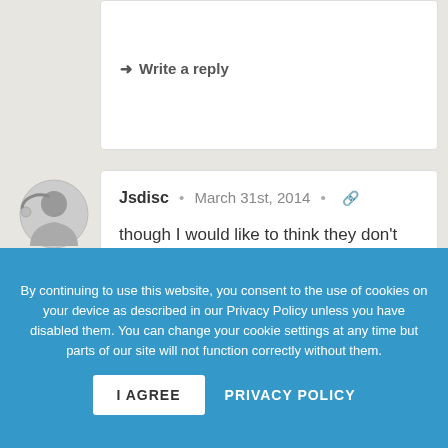➜ Write a reply
[Figure (illustration): User avatar icon showing a stylized face silhouette in grey tones]
Jsdisc • March 31st, 2014 • 🔗
though I would like to think they don't pose a danger, I can't bring myself to believe that. here's a little essay I found browsing youtube comments, I think it's pretty well formulated
By continuing to use this website, you consent to the use of cookies on your device as described in our Privacy Policy unless you have disabled them. You can change your cookie settings at any time but parts of our site will not function correctly without them.
I AGREE   PRIVACY POLICY